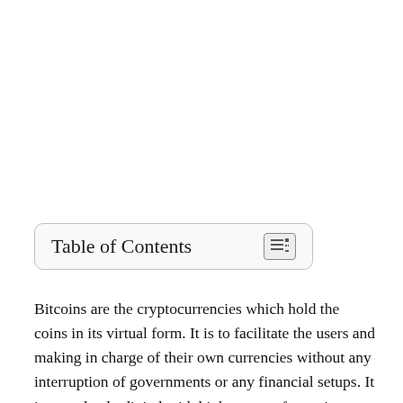Table of Contents
Bitcoins are the cryptocurrencies which hold the coins in its virtual form. It is to facilitate the users and making in charge of their own currencies without any interruption of governments or any financial setups. It is completely digital with high power of security saving the risk of theft. However, bitcoin is obviously not a free software you can download whenever you want. It either needs a lot of